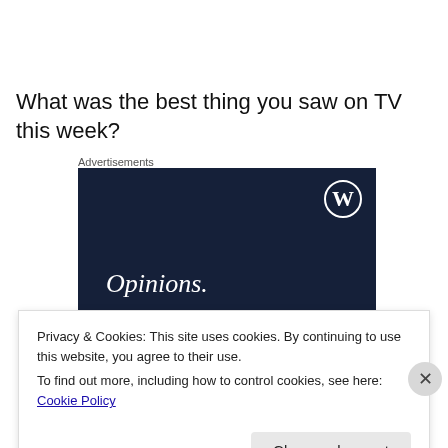What was the best thing you saw on TV this week?
Advertisements
[Figure (illustration): WordPress advertisement banner with dark navy background. Shows WordPress logo (W in circle) in top right. Text reads 'Opinions. We all have them!' in white serif font.]
Privacy & Cookies: This site uses cookies. By continuing to use this website, you agree to their use.
To find out more, including how to control cookies, see here: Cookie Policy